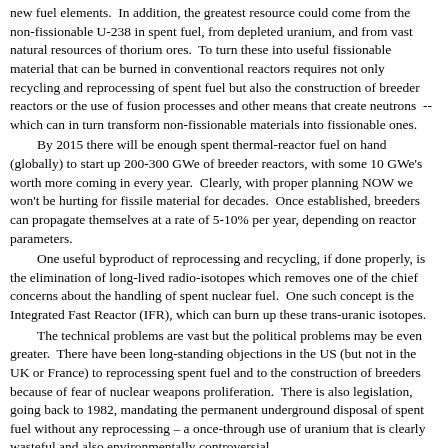new fuel elements.  In addition, the greatest resource could come from the non-fissionable U-238 in spent fuel, from depleted uranium, and from vast natural resources of thorium ores.  To turn these into useful fissionable material that can be burned in conventional reactors requires not only recycling and reprocessing of spent fuel but also the construction of breeder reactors or the use of fusion processes and other means that create neutrons  -- which can in turn transform non-fissionable materials into fissionable ones.
By 2015 there will be enough spent thermal-reactor fuel on hand (globally) to start up 200-300 GWe of breeder reactors, with some 10 GWe's worth more coming in every year.  Clearly, with proper planning NOW we won't be hurting for fissile material for decades.  Once established, breeders can propagate themselves at a rate of 5-10% per year, depending on reactor parameters.
One useful byproduct of reprocessing and recycling, if done properly, is the elimination of long-lived radio-isotopes which removes one of the chief concerns about the handling of spent nuclear fuel.  One such concept is the Integrated Fast Reactor (IFR), which can burn up these trans-uranic isotopes.
The technical problems are vast but the political problems may be even greater.  There have been long-standing objections in the US (but not in the UK or France) to reprocessing spent fuel and to the construction of breeders because of fear of nuclear weapons proliferation.  There is also legislation, going back to 1982, mandating the permanent underground disposal of spent fuel without any reprocessing – a once-through use of uranium that is clearly wasteful and also environmentally controversial.
************************************************************
1.  GW czar Carol Browner's many strange connections -- WashTimes
2.  Princeton professor fired by Gore ridicules warming fears
3.  Gerhart on the hoax of terrorist IER electricity...